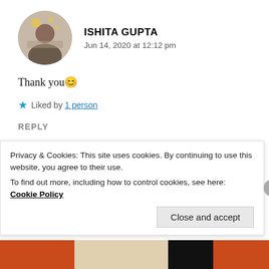[Figure (photo): Circular avatar photo of Ishita Gupta showing a person near books with bokeh background]
ISHITA GUPTA
Jun 14, 2020 at 12:12 pm
Thank you 😊
★ Liked by 1 person
REPLY
[Figure (photo): Circular avatar photo of Shweta Suresh]
SHWETA SURESH
Privacy & Cookies: This site uses cookies. By continuing to use this website, you agree to their use.
To find out more, including how to control cookies, see here: Cookie Policy
Close and accept